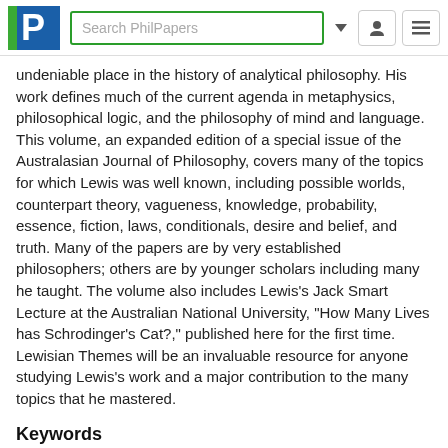Search PhilPapers
undeniable place in the history of analytical philosophy. His work defines much of the current agenda in metaphysics, philosophical logic, and the philosophy of mind and language. This volume, an expanded edition of a special issue of the Australasian Journal of Philosophy, covers many of the topics for which Lewis was well known, including possible worlds, counterpart theory, vagueness, knowledge, probability, essence, fiction, laws, conditionals, desire and belief, and truth. Many of the papers are by very established philosophers; others are by younger scholars including many he taught. The volume also includes Lewis's Jack Smart Lecture at the Australian National University, "How Many Lives has Schrodinger's Cat?," published here for the first time. Lewisian Themes will be an invaluable resource for anyone studying Lewis's work and a major contribution to the many topics that he mastered.
Keywords
Philosophy, American